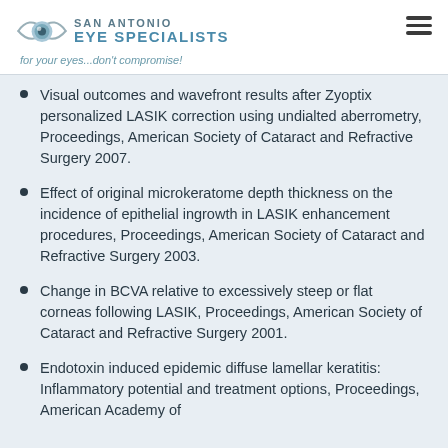SAN ANTONIO EYE SPECIALISTS — for your eyes...don't compromise!
Visual outcomes and wavefront results after Zyoptix personalized LASIK correction using undialted aberrometry, Proceedings, American Society of Cataract and Refractive Surgery 2007.
Effect of original microkeratome depth thickness on the incidence of epithelial ingrowth in LASIK enhancement procedures, Proceedings, American Society of Cataract and Refractive Surgery 2003.
Change in BCVA relative to excessively steep or flat corneas following LASIK, Proceedings, American Society of Cataract and Refractive Surgery 2001.
Endotoxin induced epidemic diffuse lamellar keratitis: Inflammatory potential and treatment options, Proceedings, American Academy of